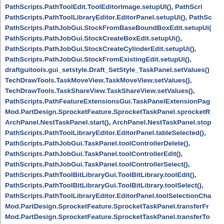PathScripts.PathToolEdit.ToolEditorImage.setupUI(), PathScripts.PathToolLibraryEditor.EditorPanel.setupUi(), PathScripts.PathJobGui.StockFromBaseBoundBoxEdit.setupUi(), PathScripts.PathJobGui.StockCreateBoxEdit.setupUi(), PathScripts.PathJobGui.StockCreateCylinderEdit.setupUi(), PathScripts.PathJobGui.StockFromExistingEdit.setupUi(), draftguitools.gui_setstyle.Draft_SetStyle_TaskPanel.setValues(), TechDrawTools.TaskMoveView.TaskMoveView.setValues(), TechDrawTools.TaskShareView.TaskShareView.setValues(), PathScripts.PathFeatureExtensionsGui.TaskPanelExtensionPage..., Mod.PartDesign.SprocketFeature.SprocketTaskPanel.sprocketR..., ArchPanel.NestTaskPanel.start(), ArchPanel.NestTaskPanel.stop..., PathScripts.PathToolLibraryEditor.EditorPanel.tableSelected(), PathScripts.PathJobGui.TaskPanel.toolControllerDelete(), PathScripts.PathJobGui.TaskPanel.toolControllerEdit(), PathScripts.PathJobGui.TaskPanel.toolControllerSelect(), PathScripts.PathToolBitLibraryGui.ToolBitLibrary.toolEdit(), PathScripts.PathToolBitLibraryGui.ToolBitLibrary.toolSelect(), PathScripts.PathToolLibraryEditor.EditorPanel.toolSelectionCha..., Mod.PartDesign.SprocketFeature.SprocketTaskPanel.transferFr..., Mod.PartDesign.SprocketFeature.SprocketTaskPanel.transferTo...